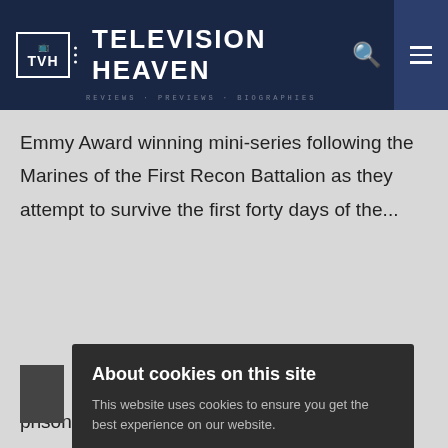TELEVISION HEAVEN
Emmy Award winning mini-series following the Marines of the First Recon Battalion as they attempt to survive the first forty days of the...
About cookies on this site
This website uses cookies to ensure you get the best experience on our website.
Learn more
Allow all cookies
Cookie settings
prisoner's attempts to escape it.